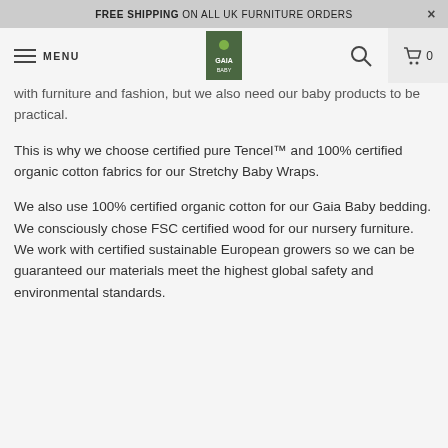FREE SHIPPING ON ALL UK FURNITURE ORDERS
with furniture and fashion, but we also need our baby products to be practical.
This is why we choose certified pure Tencel™ and 100% certified organic cotton fabrics for our Stretchy Baby Wraps.
We also use 100% certified organic cotton for our Gaia Baby bedding. We consciously chose FSC certified wood for our nursery furniture. We work with certified sustainable European growers so we can be guaranteed our materials meet the highest global safety and environmental standards.